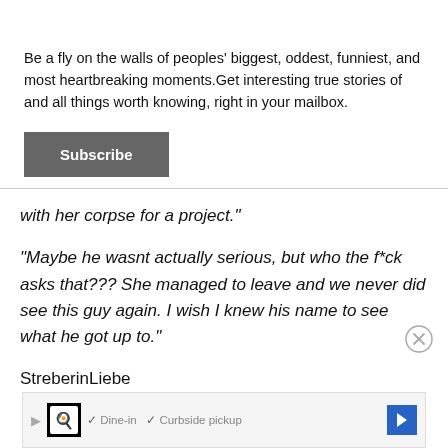Be a fly on the walls of peoples' biggest, oddest, funniest, and most heartbreaking moments.Get interesting true stories of and all things worth knowing, right in your mailbox.
Subscribe
with her corpse for a project."
"Maybe he wasnt actually serious, but who the f*ck asks that??? She managed to leave and we never did see this guy again. I wish I knew his name to see what he got up to."
StreberinLiebe